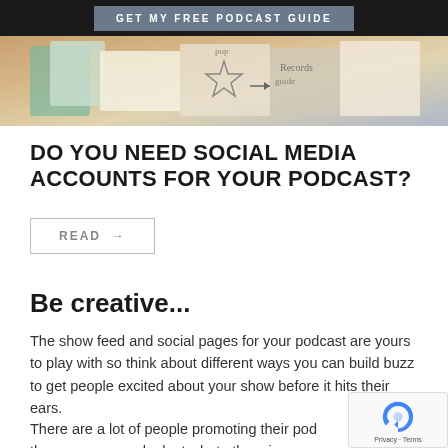GET MY FREE PODCAST GUIDE
[Figure (photo): Photo strip showing notebooks, papers with handwritten notes and a star sketch]
DO YOU NEED SOCIAL MEDIA ACCOUNTS FOR YOUR PODCAST?
READ →
Be creative...
The show feed and social pages for your podcast are yours to play with so think about different ways you can build buzz to get people excited about your show before it hits their ears.
There are a lot of people promoting their pod the same way so look at what others in your niche